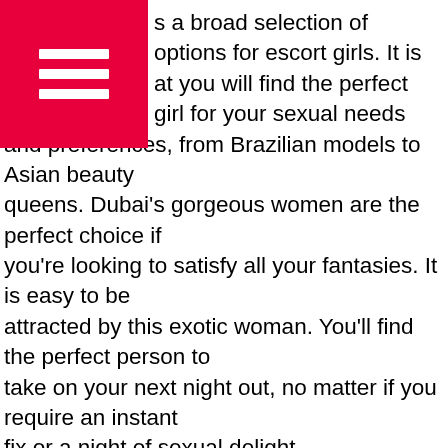[Figure (other): Pink/red square with white hamburger menu icon (three horizontal bars)]
s a broad selection of options for escort girls. It is at you will find the perfect girl for your sexual needs and preferences, from Brazilian models to Asian beauty queens. Dubai's gorgeous women are the perfect choice if you're looking to satisfy all your fantasies. It is easy to be attracted by this exotic woman. You'll find the perfect person to take on your next night out, no matter if you require an instant fix or a night of sexual delight.
The majority of escort girls in Dubai have a nice appearance and are fluent. The girls speak fluent English and are excellent communicators. You'll also find out if they will charge extra for sexual sexual activity or not. Find out if you'll have to pay an extra fee for this particular service however you'll still be able to enjoy the company of this beautiful woman.
In dubai escorts addition to being an excellent companion escorts are also a great way to make friends. Escorts in Dubai have a high standard of hygiene. The price for a session can vary based on whether the worker is black or white. While a